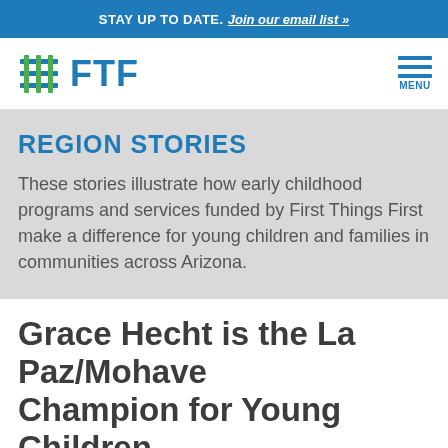STAY UP TO DATE. Join our email list »
[Figure (logo): FTF logo with grid icon and text 'FTF']
REGION STORIES
These stories illustrate how early childhood programs and services funded by First Things First make a difference for young children and families in communities across Arizona.
Grace Hecht is the La Paz/Mohave Champion for Young Children